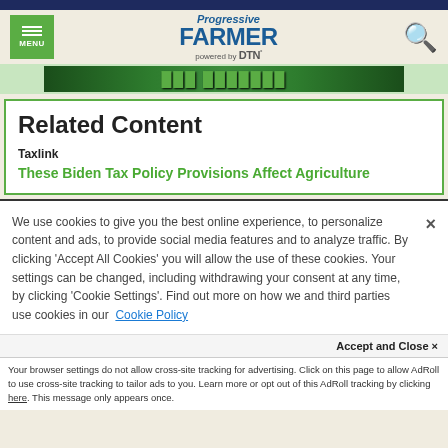Progressive Farmer powered by DTN
[Figure (screenshot): Green advertisement banner]
Related Content
Taxlink
These Biden Tax Policy Provisions Affect Agriculture
We use cookies to give you the best online experience, to personalize content and ads, to provide social media features and to analyze traffic. By clicking 'Accept All Cookies' you will allow the use of these cookies. Your settings can be changed, including withdrawing your consent at any time, by clicking 'Cookie Settings'. Find out more on how we and third parties use cookies in our Cookie Policy
Accept and Close ×
Your browser settings do not allow cross-site tracking for advertising. Click on this page to allow AdRoll to use cross-site tracking to tailor ads to you. Learn more or opt out of this AdRoll tracking by clicking here. This message only appears once.